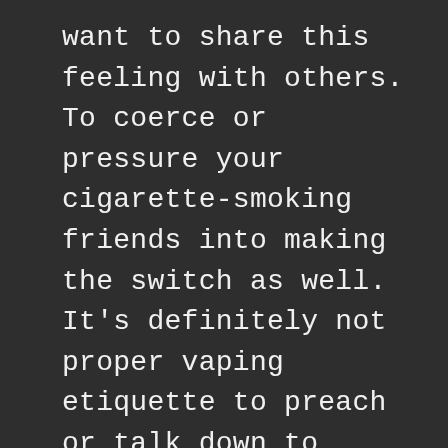want to share this feeling with others. To coerce or pressure your cigarette-smoking friends into making the switch as well. It’s definitely not proper vaping etiquette to preach or talk down to others. Don't criticize your smoking friends. Instead establish yourself as a resource they can come to if they have questions.